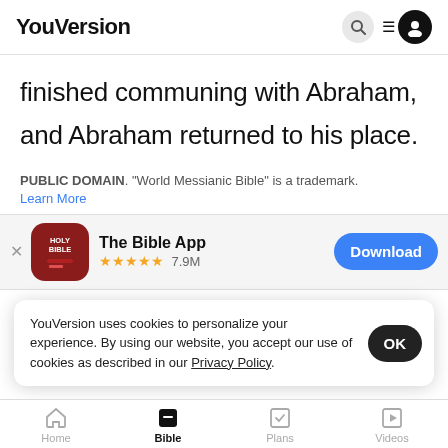YouVersion
finished communing with Abraham, and Abraham returned to his place.
PUBLIC DOMAIN. "World Messianic Bible" is a trademark. Learn More
[Figure (screenshot): The Bible App promotional banner with Holy Bible icon, star rating 7.9M, and Download button]
YouVersion uses cookies to personalize your experience. By using our website, you accept our use of cookies as described in our Privacy Policy.
Home  Bible  Plans  Videos